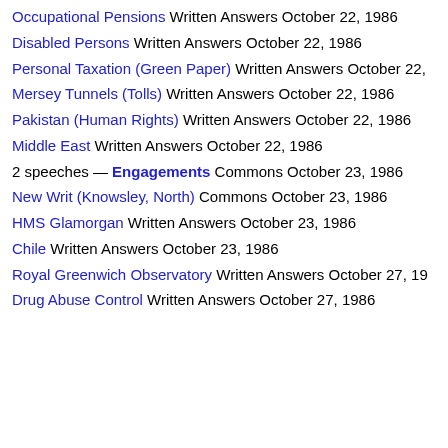Occupational Pensions Written Answers October 22, 1986
Disabled Persons Written Answers October 22, 1986
Personal Taxation (Green Paper) Written Answers October 22,
Mersey Tunnels (Tolls) Written Answers October 22, 1986
Pakistan (Human Rights) Written Answers October 22, 1986
Middle East Written Answers October 22, 1986
2 speeches — Engagements Commons October 23, 1986
New Writ (Knowsley, North) Commons October 23, 1986
HMS Glamorgan Written Answers October 23, 1986
Chile Written Answers October 23, 1986
Royal Greenwich Observatory Written Answers October 27, 19
Drug Abuse Control Written Answers October 27, 1986